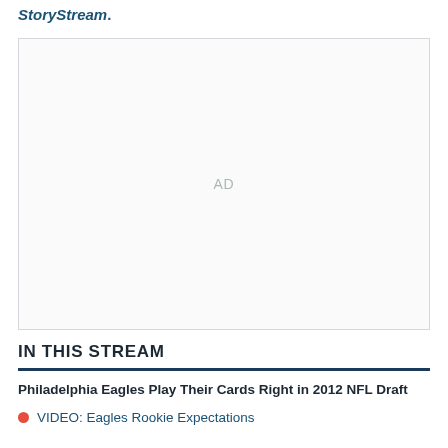StoryStream.
[Figure (other): Advertisement placeholder box with text 'AD' centered]
IN THIS STREAM
Philadelphia Eagles Play Their Cards Right in 2012 NFL Draft
VIDEO: Eagles Rookie Expectations